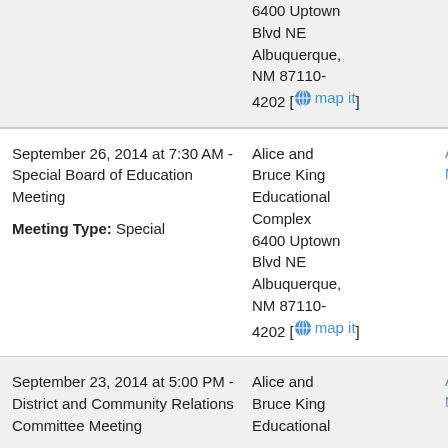6400 Uptown Blvd NE Albuquerque, NM 87110-4202 [ map it]
September 26, 2014 at 7:30 AM - Special Board of Education Meeting
Meeting Type: Special
Alice and Bruce King Educational Complex 6400 Uptown Blvd NE Albuquerque, NM 87110-4202 [ map it]
Age
Minu
September 23, 2014 at 5:00 PM - District and Community Relations Committee Meeting
Alice and Bruce King Educational